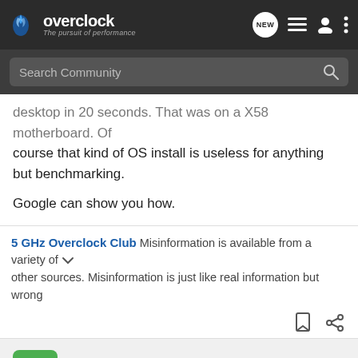Overclock.net - The pursuit of performance
desktop in 20 seconds. That was on a X58 motherboard. Of course that kind of OS install is useless for anything but benchmarking.
Google can show you how.
5 GHz Overclock Club Misinformation is available from a variety of other sources. Misinformation is just like real information but wrong
Mikemq2003 · Registered
Joined Nov 16, 2008 · 102 Posts
Discussion Starter · #8 · Nov 16, 2008